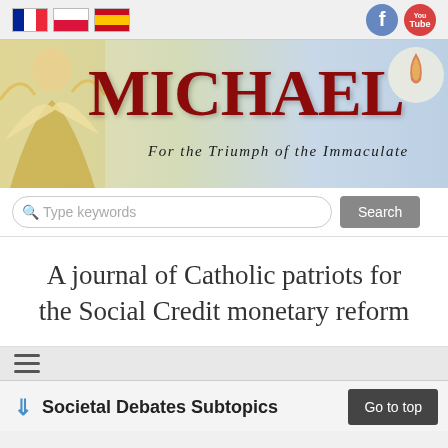[Figure (screenshot): Top navigation bar with French, Polish, and Spanish flag icons, plus Facebook and YouTube social icons]
[Figure (illustration): MICHAEL journal banner with St. Michael the Archangel illustration on left, large red MICHAEL text, and subtitle 'For the Triumph of the Immaculate']
[Figure (screenshot): Search bar with 'Type keywords' placeholder text and 'Search' button]
A journal of Catholic patriots for the Social Credit monetary reform
[Figure (screenshot): Hamburger menu icon (three horizontal lines)]
Societal Debates Subtopics
[Figure (screenshot): 'Go to top' button in dark background]